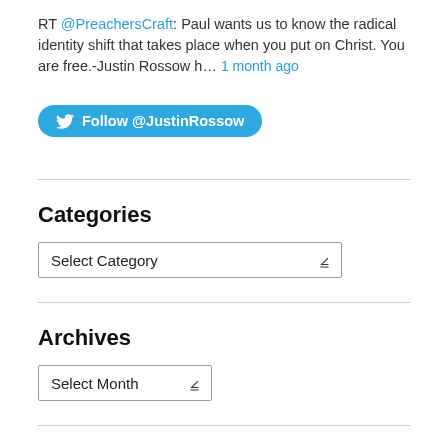RT @PreachersCraft: Paul wants us to know the radical identity shift that takes place when you put on Christ. You are free.-Justin Rossow h… 1 month ago
[Figure (other): Twitter Follow button for @JustinRossow with blue rounded rectangle and bird icon]
Categories
[Figure (other): Select Category dropdown]
Archives
[Figure (other): Select Month dropdown]
Follow Blog via Email
Enter your email address to follow this blog and receive notifications of new posts by email.